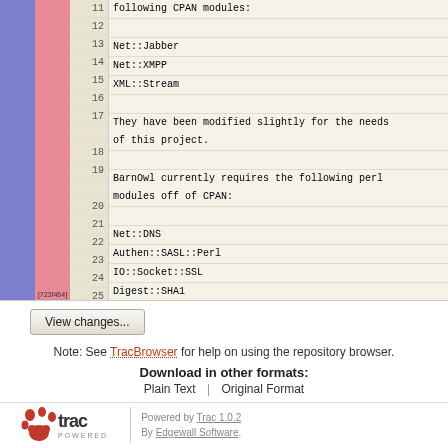[Figure (screenshot): Code diff viewer showing line numbers 11-28 with blue and pink sidebar annotations. Blue sidebar covers lines 11-17 (added), pink sidebar covers lines 18-28 (removed/changed). Label [723f464] appears on the pink sidebar. Line content shows CPAN module documentation for BarnOwl.]
View changes...
Note: See TracBrowser for help on using the repository browser.
Download in other formats:
Plain Text | Original Format
Powered by Trac 1.0.2
By Edgewall Software.
The photo in the BarnOwl logo is from Steve Brace on Flickr and used under CC-BY